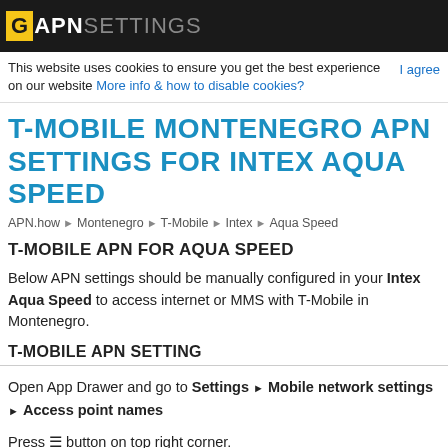G APN SETTINGS
This website uses cookies to ensure you get the best experience on our website More info & how to disable cookies? | I agree
T-MOBILE MONTENEGRO APN SETTINGS FOR INTEX AQUA SPEED
APN.how ▶ Montenegro ▶ T-Mobile ▶ Intex ▶ Aqua Speed
T-MOBILE APN FOR AQUA SPEED
Below APN settings should be manually configured in your Intex Aqua Speed to access internet or MMS with T-Mobile in Montenegro.
T-MOBILE APN SETTING
Open App Drawer and go to Settings ▶ Mobile network settings ▶ Access point names
Press ☰ button on top right corner.